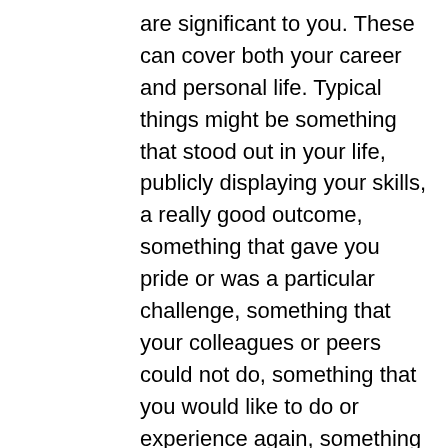are significant to you. These can cover both your career and personal life. Typical things might be something that stood out in your life, publicly displaying your skills, a really good outcome, something that gave you pride or was a particular challenge, something that your colleagues or peers could not do, something that you would like to do or experience again, something that excited you
Matching skills to these stories will provide you with a skills inventory, highlighting your strongest skills and also any gaps
Use this inventory to compare against still that are in demand